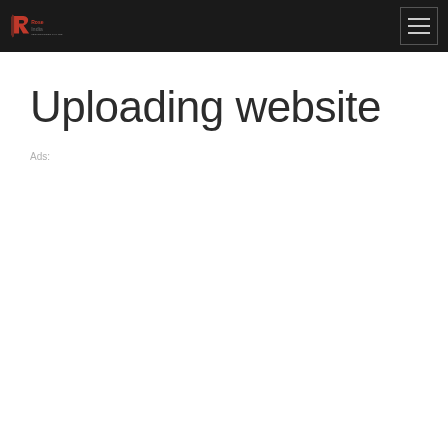Rose India Technologies - Navigation header with logo and hamburger menu
Uploading website
Ads: